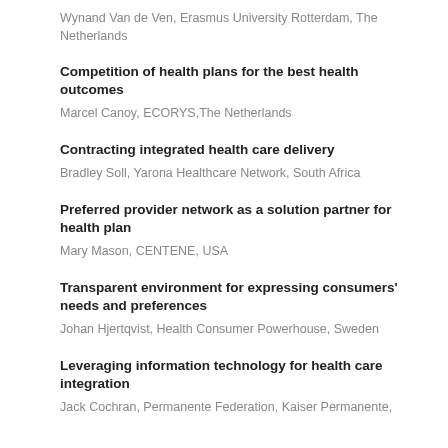Wynand Van de Ven, Erasmus University Rotterdam, The Netherlands
Competition of health plans for the best health outcomes
Marcel Canoy, ECORYS,The Netherlands
Contracting integrated health care delivery
Bradley Soll, Yarona Healthcare Network, South Africa
Preferred provider network as a solution partner for health plan
Mary Mason, CENTENE, USA
Transparent environment for expressing consumers' needs and preferences
Johan Hjertqvist, Health Consumer Powerhouse, Sweden
Leveraging information technology for health care integration
Jack Cochran, Permanente Federation, Kaiser Permanente,